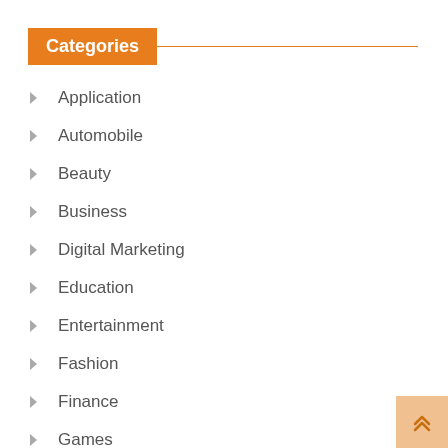Categories
Application
Automobile
Beauty
Business
Digital Marketing
Education
Entertainment
Fashion
Finance
Games
General